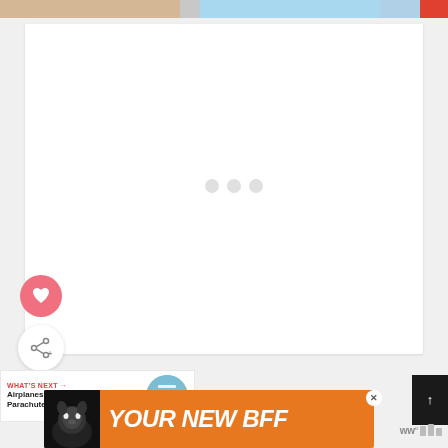[Figure (photo): Top strip showing partial image of a desk with notebook and colorful items]
[Figure (screenshot): White card content area with three loading dots in the center]
[Figure (other): Pink circular heart/like button]
[Figure (other): White circular share/add button with share icon and plus sign]
WHAT'S NEXT →
Airplanes and Parachutes...
[Figure (photo): Circular thumbnail image for next article about Airplanes and Parachutes]
[Figure (other): Black scroll-to-top button with up arrow]
[Figure (other): Orange advertisement banner with dog image and text YOUR NEW BFF]
YOUR NEW BFF